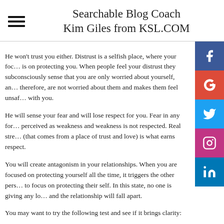Searchable Blog Coach Kim Giles from KSL.COM
He won't trust you either. Distrust is a selfish place, where your focus is on protecting you. When people feel your distrust they subconsciously sense that you are only worried about yourself, and therefore, are not worried about them and makes them feel unsafe with you.
He will sense your fear and will lose respect for you. Fear in any form is perceived as weakness and weakness is not respected. Real strength (that comes from a place of trust and love) is what earns respect.
You will create antagonism in your relationships. When you are focused on protecting yourself all the time, it triggers the other person to focus on protecting their self. In this state, no one is giving any love and the relationship will fall apart.
You may want to try the following test and see if it brings clarity:
Make the decision that you are going to trust your husband from now